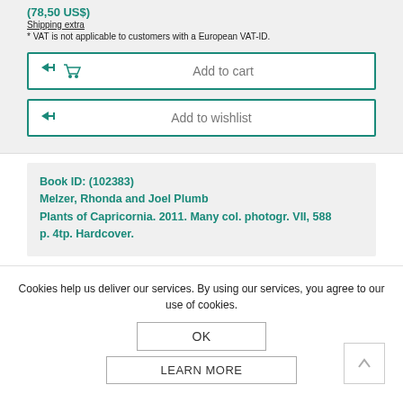(78,50 US$)
Shipping extra
* VAT is not applicable to customers with a European VAT-ID.
Add to cart
Add to wishlist
Book ID: (102383)
Melzer, Rhonda and Joel Plumb
Plants of Capricornia. 2011. Many col. photogr. VII, 588 p. 4tp. Hardcover.
Cookies help us deliver our services. By using our services, you agree to our use of cookies.
OK
LEARN MORE